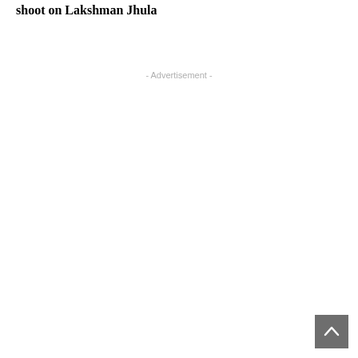shoot on Lakshman Jhula
- Advertisement -
[Figure (other): Back to top button with upward chevron arrow, grey square button in bottom right corner]